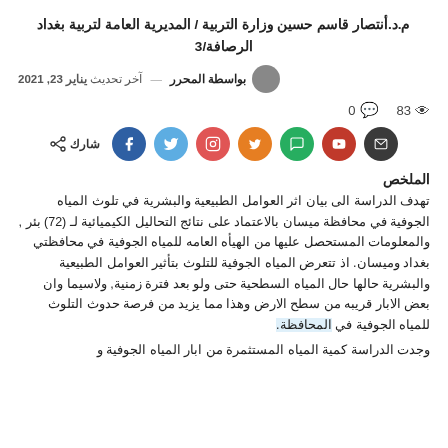م.د.أنتصار قاسم حسين وزارة التربية / المديرية العامة لتربية بغداد الرصافة/3
بواسطة المحرر — آخر تحديث يناير 23, 2021
83  0
[Figure (infographic): Share buttons row: envelope icon (dark), red circle, green circle, orange circle, salmon circle, sky blue circle, navy blue circle, and share label with icon]
الملخص
تهدف الدراسة الى بيان اثر العوامل الطبيعية والبشرية في تلوث المياه الجوفية في محافظة ميسان بالاعتماد على نتائج التحاليل الكيميائية لـ (72) بئر , والمعلومات المستحصل عليها من الهيأه العامه للمياه الجوفية في محافظتي بغداد وميسان. اذ تتعرض المياه الجوفية للتلوث بتأثير العوامل الطبيعية والبشرية حالها حال المياه السطحية حتى ولو بعد فترة زمنية, ولاسيما وان بعض الابار قريبه من سطح الارض وهذا مما يزيد من فرصة حدوث التلوث للمياه الجوفية في المحافظة.
وجدت الدراسة كمية المياه المستثمرة من ابار المياه الجوفية و